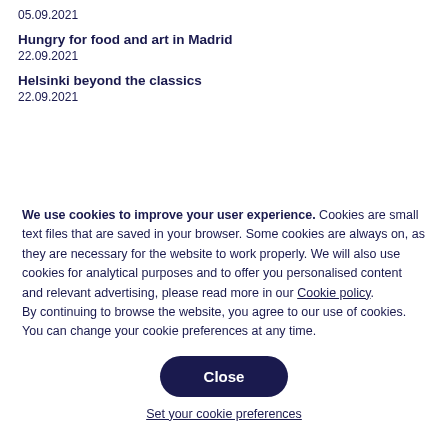05.09.2021
Hungry for food and art in Madrid
22.09.2021
Helsinki beyond the classics
22.09.2021
We use cookies to improve your user experience. Cookies are small text files that are saved in your browser. Some cookies are always on, as they are necessary for the website to work properly. We will also use cookies for analytical purposes and to offer you personalised content and relevant advertising, please read more in our Cookie policy.
By continuing to browse the website, you agree to our use of cookies. You can change your cookie preferences at any time.
Close
Set your cookie preferences